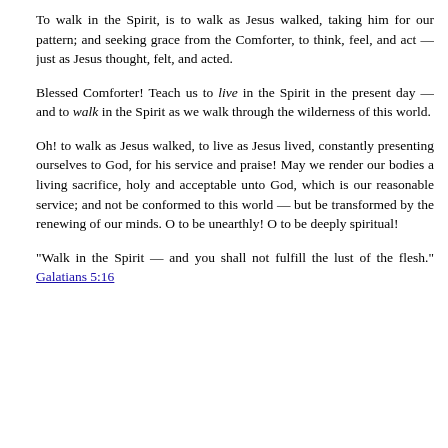To walk in the Spirit, is to walk as Jesus walked, taking him for our pattern; and seeking grace from the Comforter, to think, feel, and act — just as Jesus thought, felt, and acted.
Blessed Comforter! Teach us to live in the Spirit in the present day — and to walk in the Spirit as we walk through the wilderness of this world.
Oh! to walk as Jesus walked, to live as Jesus lived, constantly presenting ourselves to God, for his service and praise! May we render our bodies a living sacrifice, holy and acceptable unto God, which is our reasonable service; and not be conformed to this world — but be transformed by the renewing of our minds. O to be unearthly! O to be deeply spiritual!
"Walk in the Spirit — and you shall not fulfill the lust of the flesh." Galatians 5:16